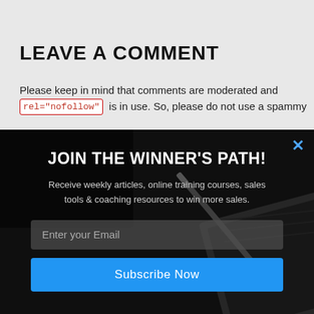LEAVE A COMMENT
Please keep in mind that comments are moderated and rel="nofollow" is in use. So, please do not use a spammy
[Figure (screenshot): Modal overlay with dark semi-transparent background showing a desk with laptop, phone, and pen. Contains newsletter signup form.]
JOIN THE WINNER'S PATH!
Receive weekly articles, online training courses, sales tools & coaching resources to win more sales.
Enter your Email
Subscribe Now
NO THANKS